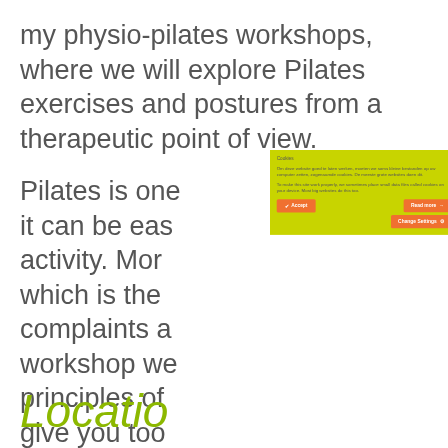my physio-pilates workshops, where we will explore Pilates exercises and postures from a therapeutic point of view.
Pilates is one of the most popular forms of exercise because it can be easily adapted to any level of fitness and activity. Moreover, it is a non-impact form of exercise which is the reason why it is often used for people with complaints and pain. In my physio-pilates workshop we will use the knowledge and principles of physiotherapy and pilates to give you tools to improve your posture, most importantly to help you prevent or further injury.
Location
[Figure (screenshot): Cookie consent overlay dialog on a yellow-green background. Contains title 'Cookies', Dutch text about cookies, English text about cookies, Accept button, Read more button, and Change Settings button.]